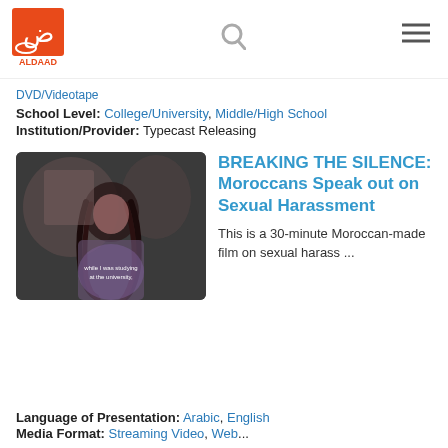[Figure (logo): ALDAAD logo — orange square with Arabic letter, white text ALDAAD below]
[Figure (other): Search icon (magnifying glass)]
[Figure (other): Hamburger menu icon (three horizontal lines)]
DVD/Videotape
School Level: College/University, Middle/High School
Institution/Provider: Typecast Releasing
[Figure (photo): Film still showing a person with braided hair in front of a textured wall; subtitle text reads 'while I was studying at the university,']
BREAKING THE SILENCE: Moroccans Speak out on Sexual Harassment
This is a 30-minute Moroccan-made film on sexual harass ...
Language of Presentation: Arabic, English
Media Format: Streaming Video, Web...